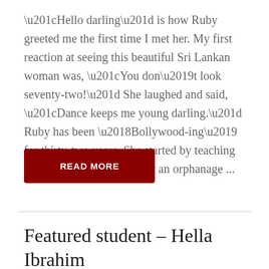“Hello darling” is how Ruby greeted me the first time I met her. My first reaction at seeing this beautiful Sri Lankan woman was, “You don’t look seventy-two!” She laughed and said, “Dance keeps me young darling.” Ruby has been ‘Bollywood-ing’ for thirty-two years. She started by teaching Bollywood dance to kids at an orphanage ...
READ MORE
Featured student – Hella Ibrahim